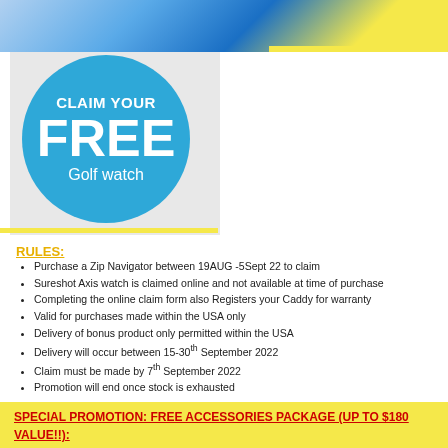[Figure (illustration): Top banner with blue and yellow gradient background, decorative promotional header]
[Figure (illustration): Blue circle badge reading 'CLAIM YOUR FREE Golf watch']
RULES:
Purchase a Zip Navigator between 19AUG -5Sept 22 to claim
Sureshot Axis watch is claimed online and not available at time of purchase
Completing the online claim form also Registers your Caddy for warranty
Valid for purchases made within the USA only
Delivery of bonus product only permitted within the USA
Delivery will occur between 15-30th September 2022
Claim must be made by 7th September 2022
Promotion will end once stock is exhausted
SPECIAL PROMOTION: FREE ACCESSORIES PACKAGE (UP TO $180 VALUE!!):